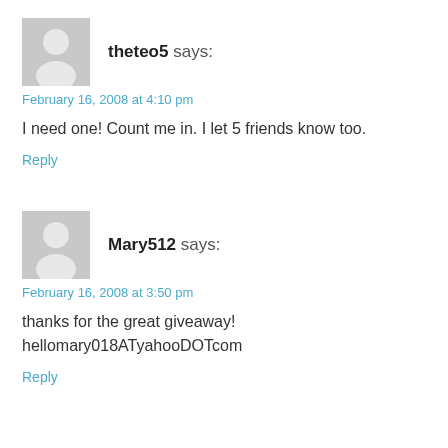[Figure (illustration): Gray placeholder avatar icon for user theteo5]
theteo5 says:
February 16, 2008 at 4:10 pm
I need one! Count me in. I let 5 friends know too.
Reply
[Figure (illustration): Gray placeholder avatar icon for user Mary512]
Mary512 says:
February 16, 2008 at 3:50 pm
thanks for the great giveaway! hellomary018ATyahooDOTcom
Reply